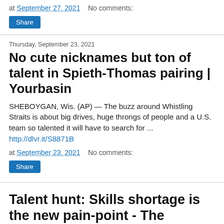at September 27, 2021   No comments:
Share
Thursday, September 23, 2021
No cute nicknames but ton of talent in Spieth-Thomas pairing | Yourbasin
SHEBOYGAN, Wis. (AP) — The buzz around Whistling Straits is about big drives, huge throngs of people and a U.S. team so talented it will have to search for ... http://dlvr.it/S8871B
at September 23, 2021   No comments:
Share
Talent hunt: Skills shortage is the new pain-point - The Financial Express